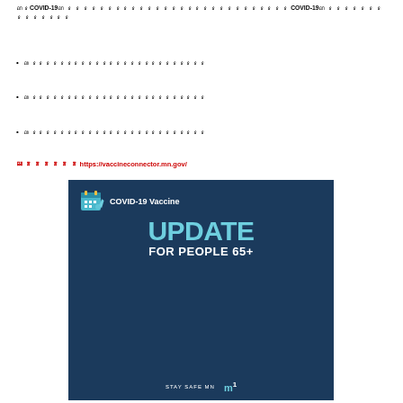ណ​ន​COVID-19ណ​ ន​ ន​ ន​ ន​ ន​ ន​ ន​ ន​ ន​ ន​ ន​ ន​ ន​ ន​ ន​ ន​ ន​ COVID-19ណ​ ន​ ន​ ន​ ន​ ន​ ន​ ន​ ន​
•
•
•
ណ​ ន​ ន​ ន​ ន​ ន​ ន​ https://vaccineconnector.mn.gov/
[Figure (illustration): COVID-19 Vaccine UPDATE FOR PEOPLE 65+ promotional banner with dark navy blue background, calendar icon, teal/cyan colored large 'UPDATE' text, white 'FOR PEOPLE 65+' text, Stay Safe MN and MN logos at bottom]